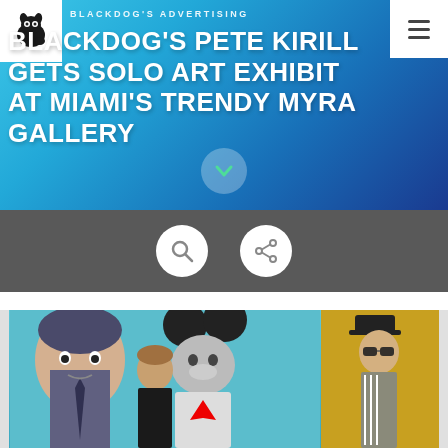BLACKDOG'S ADVERTISING
BLACKDOG'S PETE KIRILL GETS SOLO ART EXHIBIT AT MIAMI'S TRENDY MYRA GALLERY
[Figure (screenshot): Website screenshot showing a blue gradient header with navigation icons (search and share) on a gray bar, and below a photo of a man at an art gallery with large painted figures including one with Mickey Mouse ears wearing a Superman shirt, and another figure on a yellow background]
[Figure (photo): Gallery photo showing a man in a black shirt posing next to large painted artworks: one depicting a figure with Mickey Mouse ears in a Superman shirt, and another on a yellow background showing a standing figure in athletic wear]